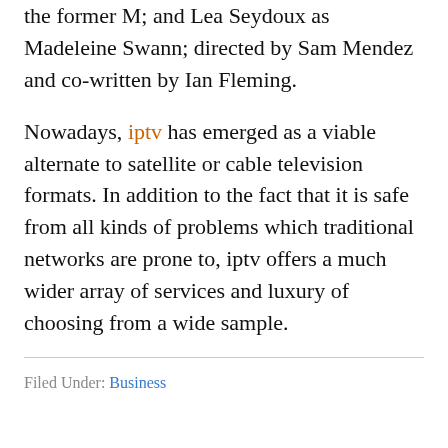the former M; and Lea Seydoux as Madeleine Swann; directed by Sam Mendez and co-written by Ian Fleming.
Nowadays, iptv has emerged as a viable alternate to satellite or cable television formats. In addition to the fact that it is safe from all kinds of problems which traditional networks are prone to, iptv offers a much wider array of services and luxury of choosing from a wide sample.
Filed Under: Business